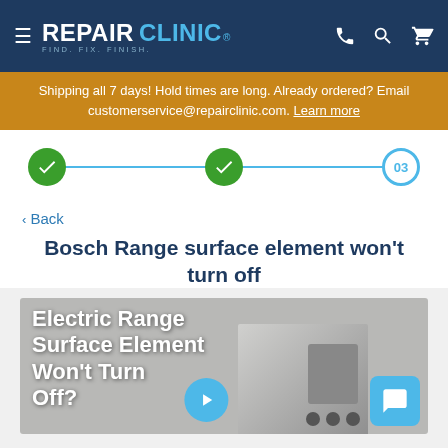REPAIR CLINIC — FIND. FIX. FINISH.
Shipping all 7 days! Hold times are long. Already ordered? Email customerservice@repairclinic.com. Learn more
[Figure (infographic): Progress tracker with 3 steps: step 1 (green checkmark, done), step 2 (green checkmark, done), step 3 (cyan circle labeled 03, current)]
< Back
Bosch Range surface element won't turn off
[Figure (screenshot): Video thumbnail showing text 'Electric Range Surface Element Won't Turn Off?' overlaid on a stove image, with a play button and chat button]